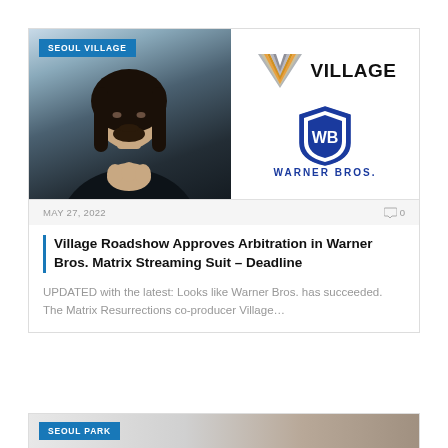[Figure (photo): Movie still showing a man with dark hair holding something up, with a blue label 'SEOUL VILLAGE' in top-left corner. Right side shows Village Roadshow logo and Warner Bros. shield logo.]
MAY 27, 2022
0
Village Roadshow Approves Arbitration in Warner Bros. Matrix Streaming Suit – Deadline
UPDATED with the latest: Looks like Warner Bros. has succeeded. The Matrix Resurrections co-producer Village…
[Figure (photo): Bottom stub of another card with 'SEOUL PARK' blue badge label.]